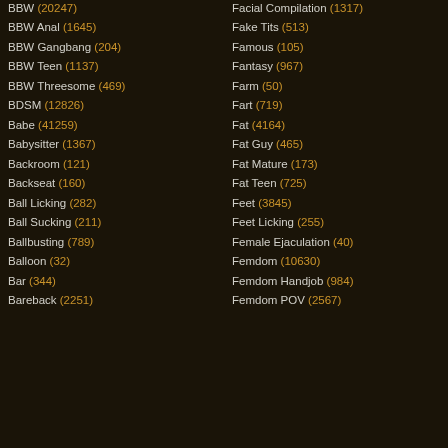BBW (20247)
Facial Compilation (1317)
BBW Anal (1645)
Fake Tits (513)
BBW Gangbang (204)
Famous (105)
BBW Teen (1137)
Fantasy (967)
BBW Threesome (469)
Farm (50)
BDSM (12826)
Fart (719)
Babe (41259)
Fat (4164)
Babysitter (1367)
Fat Guy (465)
Backroom (121)
Fat Mature (173)
Backseat (160)
Fat Teen (725)
Ball Licking (282)
Feet (3845)
Ball Sucking (211)
Feet Licking (255)
Ballbusting (789)
Female Ejaculation (40)
Balloon (32)
Femdom (10630)
Bar (344)
Femdom Handjob (984)
Bareback (2251)
Femdom POV (2567)